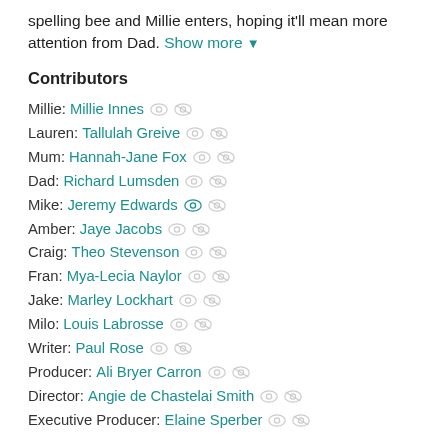spelling bee and Millie enters, hoping it'll mean more attention from Dad. Show more ▼
Contributors
Millie: Millie Innes
Lauren: Tallulah Greive
Mum: Hannah-Jane Fox
Dad: Richard Lumsden
Mike: Jeremy Edwards
Amber: Jaye Jacobs
Craig: Theo Stevenson
Fran: Mya-Lecia Naylor
Jake: Marley Lockhart
Milo: Louis Labrosse
Writer: Paul Rose
Producer: Ali Bryer Carron
Director: Angie de Chastelai Smith
Executive Producer: Elaine Sperber